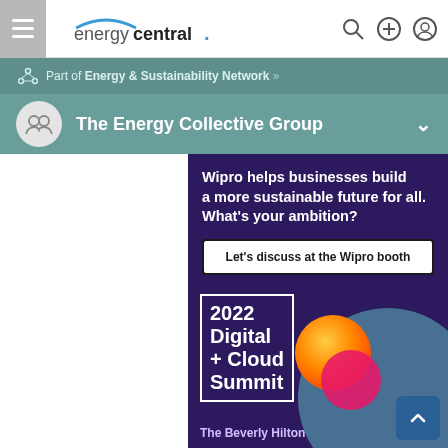energycentral.
Part of Energy & Sustainability Network »
The Energy Collective Group
[Figure (illustration): Wipro advertisement banner with dark purple background. Text reads: 'Wipro helps businesses build a more sustainable future for all. What's your ambition?' with a button 'Let's discuss at the Wipro booth'. Bottom section shows '2022 Digital + Cloud Summit' text with geometric circle decorations (orange, pink, teal) and 'The Beverly Hilton' text.]